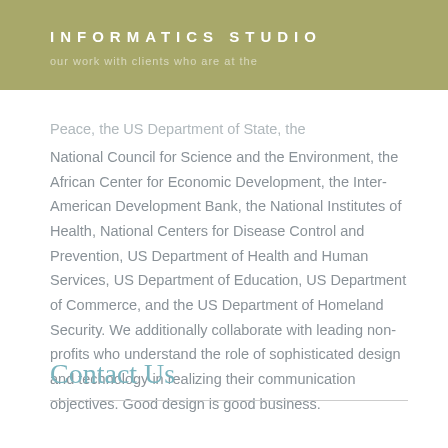INFORMATICS STUDIO
Peace, the US Department of State, the National Council for Science and the Environment, the African Center for Economic Development, the Inter- American Development Bank, the National Institutes of Health, National Centers for Disease Control and Prevention, US Department of Health and Human Services, US Department of Education, US Department of Commerce, and the US Department of Homeland Security. We additionally collaborate with leading non-profits who understand the role of sophisticated design and technology in realizing their communication objectives. Good design is good business.
Contact Us